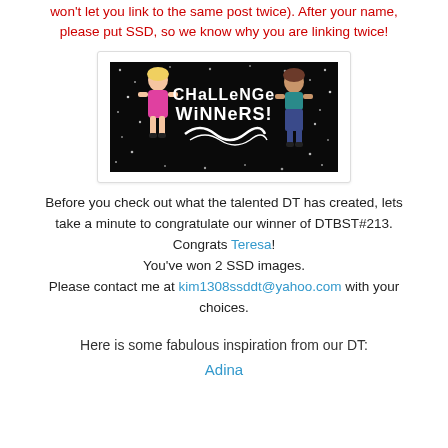won't let you link to the same post twice). After your name, please put SSD, so we know why you are linking twice!
[Figure (illustration): Black background banner image with two cartoon girl figures and text reading 'Challenge Winners!' with decorative swirls and white dot sparkles]
Before you check out what the talented DT has created, lets take a minute to congratulate our winner of DTBST#213. Congrats Teresa! You've won 2 SSD images. Please contact me at kim1308ssddt@yahoo.com with your choices.
Here is some fabulous inspiration from our DT:
Adina